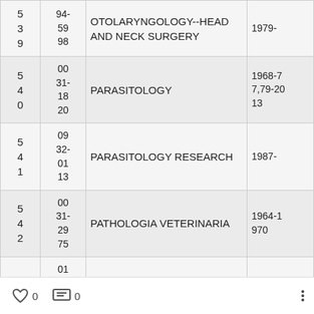|  |  | Title | Years |
| --- | --- | --- | --- |
| 5
3
9 | 94-
59
98 | OTOLARYNGOLOGY--HEAD AND NECK SURGERY | 1979- |
| 5
4
0 | 00
31-
18
20 | PARASITOLOGY | 1968-7
7,79-20
13 |
| 5
4
1 | 09
32-
01
13 | PARASITOLOGY RESEARCH | 1987- |
| 5
4
2 | 00
31-
29
75 | PATHOLOGIA VETERINARIA | 1964-1
970 |
|  | 01 |  |  |
0   0